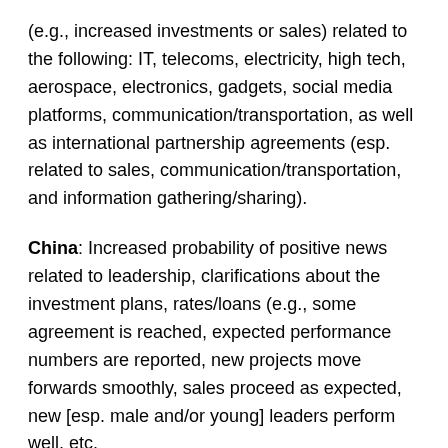(e.g., increased investments or sales) related to the following: IT, telecoms, electricity, high tech, aerospace, electronics, gadgets, social media platforms, communication/transportation, as well as international partnership agreements (esp. related to sales, communication/transportation, and information gathering/sharing).
China: Increased probability of positive news related to leadership, clarifications about the investment plans, rates/loans (e.g., some agreement is reached, expected performance numbers are reported, new projects move forwards smoothly, sales proceed as expected, new [esp. male and/or young] leaders perform well, etc.
China: All of Jan 2019 and continuing into mid-Feb, esp. Jan 28-30 — Increased focus on oil, gas, navy, water